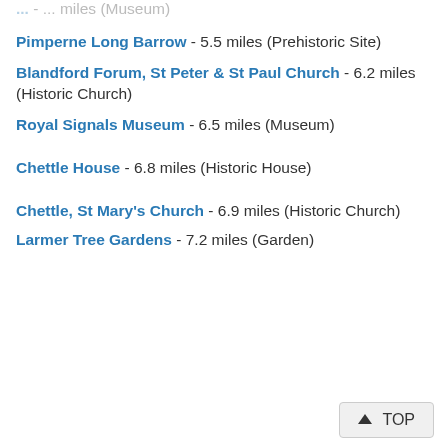... - ... miles (Museum)
Pimperne Long Barrow - 5.5 miles (Prehistoric Site)
Blandford Forum, St Peter & St Paul Church - 6.2 miles (Historic Church)
Royal Signals Museum - 6.5 miles (Museum)
Chettle House - 6.8 miles (Historic House)
Chettle, St Mary's Church - 6.9 miles (Historic Church)
Larmer Tree Gardens - 7.2 miles (Garden)